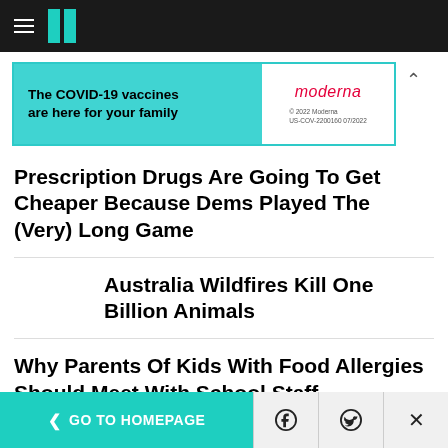HuffPost navigation bar with hamburger menu and logo
[Figure (other): Moderna COVID-19 vaccine advertisement banner: 'The COVID-19 vaccines are here for your family' on teal background with Moderna logo on white]
Prescription Drugs Are Going To Get Cheaper Because Dems Played The (Very) Long Game
Australia Wildfires Kill One Billion Animals
Why Parents Of Kids With Food Allergies Should Meet With School Staff
[Figure (photo): Dark/black image thumbnail]
< GO TO HOMEPAGE  [Facebook icon]  [Twitter icon]  X